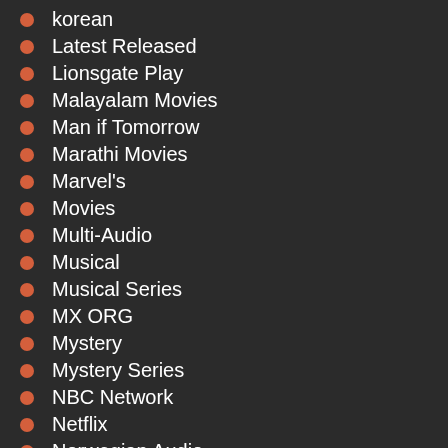korean
Latest Released
Lionsgate Play
Malayalam Movies
Man if Tomorrow
Marathi Movies
Marvel's
Movies
Multi-Audio
Musical
Musical Series
MX ORG
Mystery
Mystery Series
NBC Network
Netflix
Norwegian Audio
Parsian
PERSIAN AUDIO